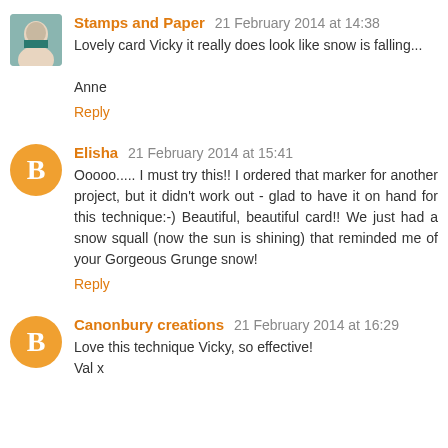Stamps and Paper 21 February 2014 at 14:38
Lovely card Vicky it really does look like snow is falling...

Anne
Reply
Elisha 21 February 2014 at 15:41
Ooooo..... I must try this!! I ordered that marker for another project, but it didn't work out - glad to have it on hand for this technique:-) Beautiful, beautiful card!! We just had a snow squall (now the sun is shining) that reminded me of your Gorgeous Grunge snow!
Reply
Canonbury creations 21 February 2014 at 16:29
Love this technique Vicky, so effective!
Val x